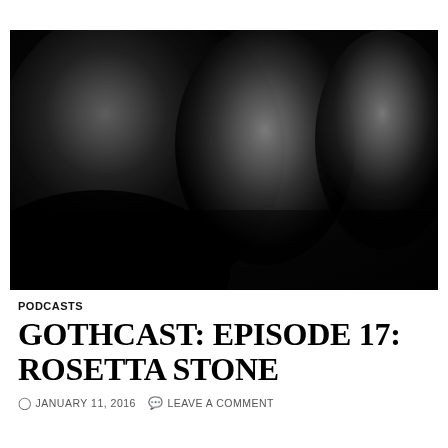[Figure (photo): Black and white photo of three gothic-looking figures against a dark background. The left figure is close up with dramatic eye makeup, the center and right figures are partially obscured in shadows.]
PODCASTS
GOTHCAST: EPISODE 17: ROSETTA STONE
JANUARY 11, 2016   LEAVE A COMMENT